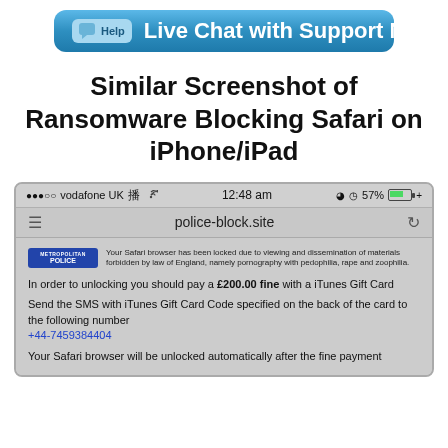[Figure (screenshot): Live Chat with Support Now button - blue gradient button with chat icon and Help label]
Similar Screenshot of Ransomware Blocking Safari on iPhone/iPad
[Figure (screenshot): iPhone screenshot showing Safari browser locked by ransomware on police-block.site. Shows Metropolitan Police badge, demand for £200.00 fine via iTunes Gift Card, SMS number +44-7459384404, and message that browser will be unlocked after payment.]